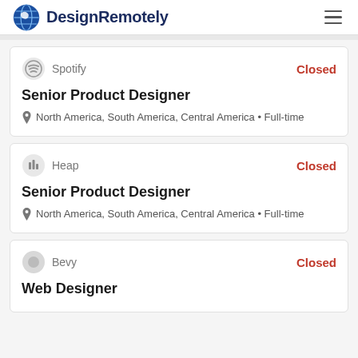DesignRemotely
Spotify — Closed
Senior Product Designer
North America, South America, Central America • Full-time
Heap — Closed
Senior Product Designer
North America, South America, Central America • Full-time
Bevy — Closed
Web Designer